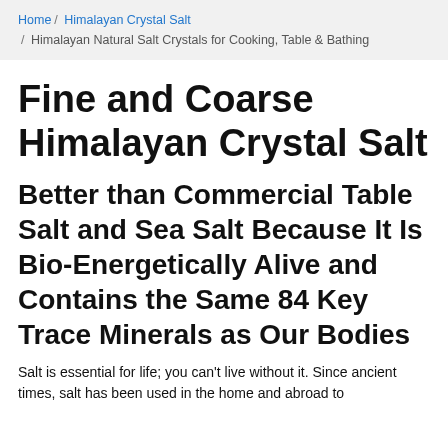Home / Himalayan Crystal Salt / Himalayan Natural Salt Crystals for Cooking, Table & Bathing
Fine and Coarse Himalayan Crystal Salt
Better than Commercial Table Salt and Sea Salt Because It Is Bio-Energetically Alive and Contains the Same 84 Key Trace Minerals as Our Bodies
Salt is essential for life; you can't live without it. Since ancient times, salt has been used in the home and abroad to...